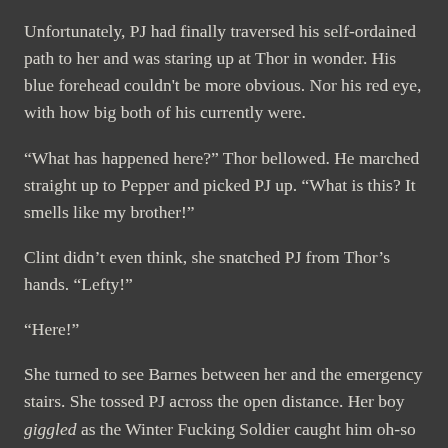Unfortunately, PJ had finally traversed his self-ordained path to her and was staring up at Thor in wonder. His blue forehead couldn't be more obvious. Nor his red eye, with how big both of his currently were.
“What has happened here?” Thor bellowed. He marched straight up to Pepper and picked PJ up. “What is this? It smells like my brother!”
Clint didn’t even think, she snatched PJ from Thor’s hands. “Lefty!”
“Here!”
She turned to see Barnes between her and the emergency stairs. She tossed PJ across the open distance. Her boy giggled as the Winter Fucking Soldier caught him oh-so gently and ran for the door. Cap moved between Bucky and